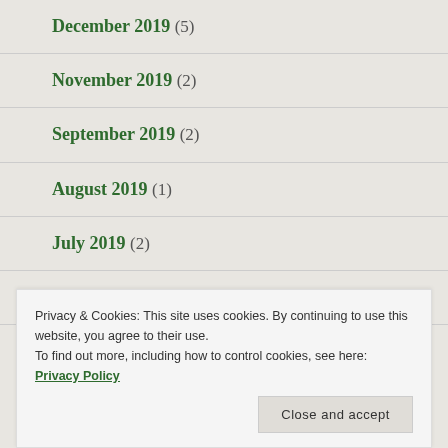December 2019 (5)
November 2019 (2)
September 2019 (2)
August 2019 (1)
July 2019 (2)
June 2019 (3)
Privacy & Cookies: This site uses cookies. By continuing to use this website, you agree to their use.
To find out more, including how to control cookies, see here: Privacy Policy
Close and accept